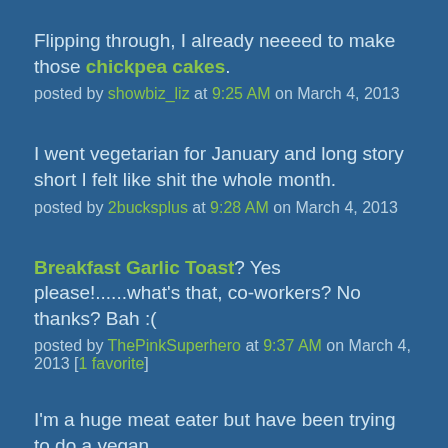Flipping through, I already neeeed to make those chickpea cakes.
posted by showbiz_liz at 9:25 AM on March 4, 2013
I went vegetarian for January and long story short I felt like shit the whole month.
posted by 2bucksplus at 9:28 AM on March 4, 2013
Breakfast Garlic Toast? Yes please!......what's that, co-workers? No thanks? Bah :(
posted by ThePinkSuperhero at 9:37 AM on March 4, 2013 [1 favorite]
I'm a huge meat eater but have been trying to do a vegan